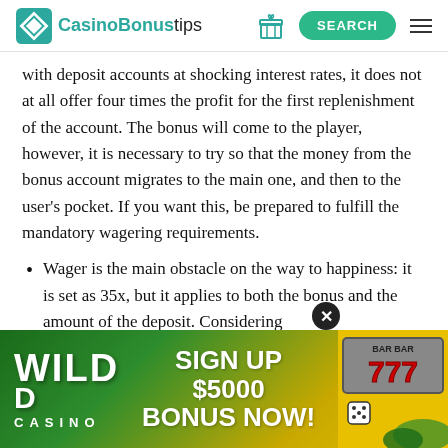CasinoBonustips — SEARCH
with deposit accounts at shocking interest rates, it does not at all offer four times the profit for the first replenishment of the account. The bonus will come to the player, however, it is necessary to try so that the money from the bonus account migrates to the main one, and then to the user's pocket. If you want this, be prepared to fulfill the mandatory wagering requirements.
Wager is the main obstacle on the way to happiness: it is set as 35x, but it applies to both the bonus and the amount of the deposit. Considering that the bonus is three times larger than the…
[Figure (infographic): Wild Casino advertisement banner: green to yellow gradient background, WILD CASINO logo on left, SIGN UP $5000 BONUS NOW! text in center, slot machine showing 777 on right]